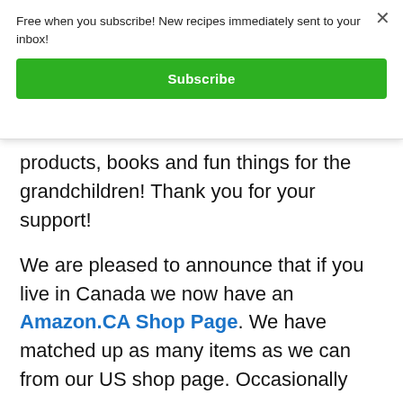Free when you subscribe! New recipes immediately sent to your inbox!
Subscribe
products, books and fun things for the grandchildren! Thank you for your support!
We are pleased to announce that if you live in Canada we now have an Amazon.CA Shop Page. We have matched up as many items as we can from our US shop page. Occasionally